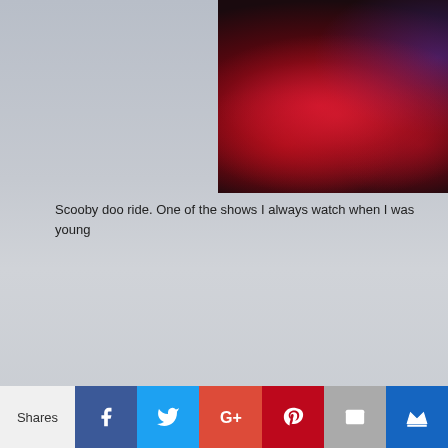[Figure (photo): Dark themed Scooby Doo ride interior with red glowing lights and blue lit area in background]
Scooby doo ride. One of the shows I always watch when I was young
[Figure (photo): Stage or show area with blue/silver geometric set pieces and yellow starburst lighting in background]
Shares | Facebook | Twitter | Google+ | Pinterest | Email | Crown